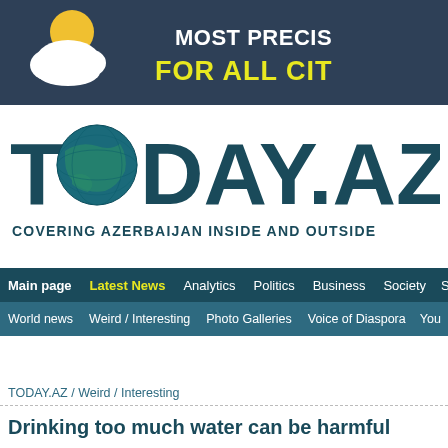[Figure (infographic): Weather app advertisement banner with sun and cloud icon on dark blue background, text 'MOST PRECIS' and 'FOR ALL CIT' (truncated)]
[Figure (logo): TODAY.AZ logo with globe replacing the O in TODAY, teal/dark blue coloring, tagline 'COVERING AZERBAIJAN INSIDE AND OUTSIDE']
Main page | Latest News | Analytics | Politics | Business | Society | S...
World news | Weird / Interesting | Photo Galleries | Voice of Diaspora | You...
TODAY.AZ / Weird / Interesting
Drinking too much water can be harmful